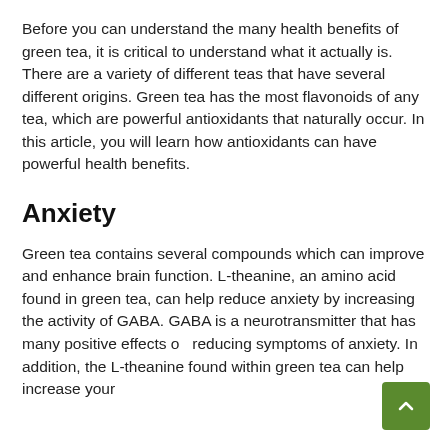Before you can understand the many health benefits of green tea, it is critical to understand what it actually is. There are a variety of different teas that have several different origins. Green tea has the most flavonoids of any tea, which are powerful antioxidants that naturally occur. In this article, you will learn how antioxidants can have powerful health benefits.
Anxiety
Green tea contains several compounds which can improve and enhance brain function. L-theanine, an amino acid found in green tea, can help reduce anxiety by increasing the activity of GABA. GABA is a neurotransmitter that has many positive effects on reducing symptoms of anxiety. In addition, the L-theanine found within green tea can help increase your